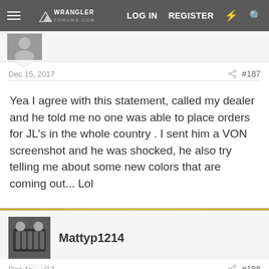Wrangler Forums — LOG IN  REGISTER
Dec 15, 2017   #187
Yea I agree with this statement, called my dealer and he told me no one was able to place orders for JL's in the whole country . I sent him a VON screenshot and he was shocked, he also try telling me about some new colors that are coming out... Lol
Mattyp1214
Dec 15, 2017   #188
wmpj08 said: ↑